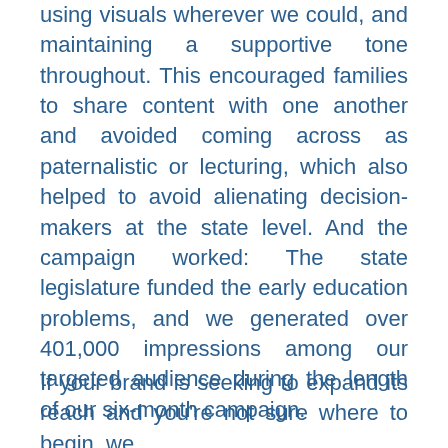using visuals wherever we could, and maintaining a supportive tone throughout. This encouraged families to share content with one another and avoided coming across as paternalistic or lecturing, which also helped to avoid alienating decision-makers at the state level. And the campaign worked: The state legislature funded the early education problems, and we generated over 401,000 impressions among our targeted audience during the length of our six-month campaign.
If your brand is seeking to expand its reach and you're not sure where to begin, we